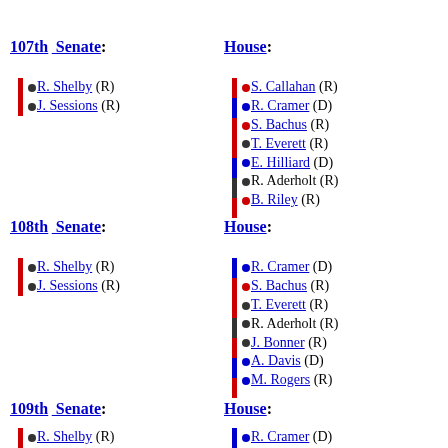107th  Senate:
R. Shelby (R)
J. Sessions (R)
House:
S. Callahan (R)
R. Cramer (D)
S. Bachus (R)
T. Everett (R)
E. Hilliard (D)
R. Aderholt (R)
B. Riley (R)
108th  Senate:
R. Shelby (R)
J. Sessions (R)
House:
R. Cramer (D)
S. Bachus (R)
T. Everett (R)
R. Aderholt (R)
J. Bonner (R)
A. Davis (D)
M. Rogers (R)
109th  Senate:
R. Shelby (R)
J. Sessions (R)
House:
R. Cramer (D)
S. Bachus (R)